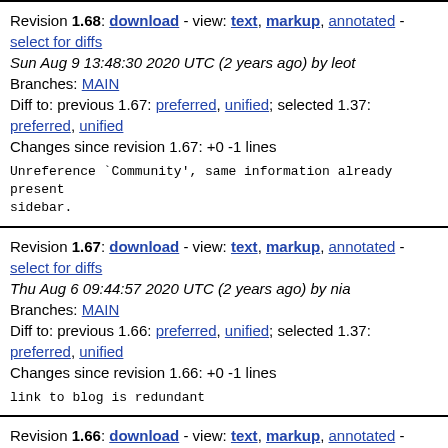Revision 1.68: download - view: text, markup, annotated - select for diffs
Sun Aug 9 13:48:30 2020 UTC (2 years ago) by leot
Branches: MAIN
Diff to: previous 1.67: preferred, unified; selected 1.37: preferred, unified
Changes since revision 1.67: +0 -1 lines
Unreference `Community', same information already present sidebar.
Revision 1.67: download - view: text, markup, annotated - select for diffs
Thu Aug 6 09:44:57 2020 UTC (2 years ago) by nia
Branches: MAIN
Diff to: previous 1.66: preferred, unified; selected 1.37: preferred, unified
Changes since revision 1.66: +0 -1 lines
link to blog is redundant
Revision 1.66: download - view: text, markup, annotated - select for diffs
Thu Aug 6 09:40:59 2020 UTC (2 years ago) by nia
Branches: MAIN